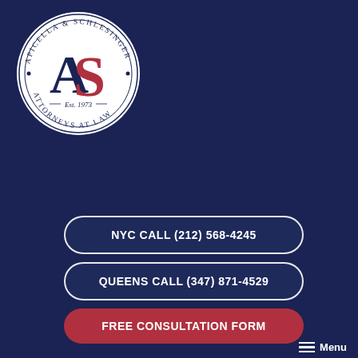[Figure (logo): Apicella & Schlesinger Attorneys at Law circular logo with AS monogram and Est. 1973]
NYC CALL (212) 568-4245
QUEENS CALL (347) 871-4529
FREE CONSULTATION FORM
Menu